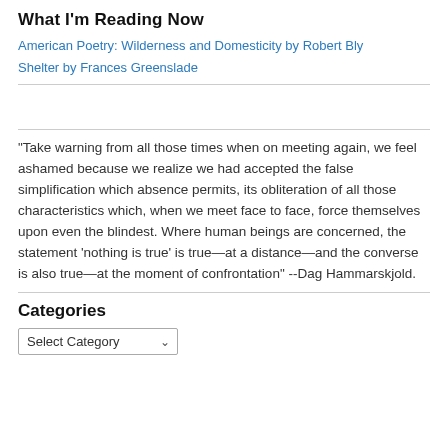What I'm Reading Now
American Poetry: Wilderness and Domesticity by Robert Bly
Shelter by Frances Greenslade
“Take warning from all those times when on meeting again, we feel ashamed because we realize we had accepted the false simplification which absence permits, its obliteration of all those characteristics which, when we meet face to face, force themselves upon even the blindest. Where human beings are concerned, the statement ‘nothing is true’ is true—at a distance—and the converse is also true—at the moment of confrontation” --Dag Hammarskjold.
Categories